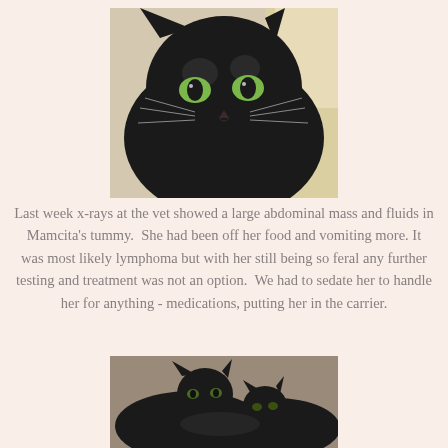[Figure (photo): Close-up photo of a black cat with green eyes looking at the camera, taken indoors.]
Last week x-rays at the vet showed a large abdominal mass and fluids in Mamcita's tummy.  She had been off her food and vomiting more. It was most likely lymphoma but with her still being so feral any further testing and treatment was not an option.  We had to sedate her to handle her for anything - medications, putting her in the carrier.
[Figure (photo): Photo of two black cats resting/cuddling together.]